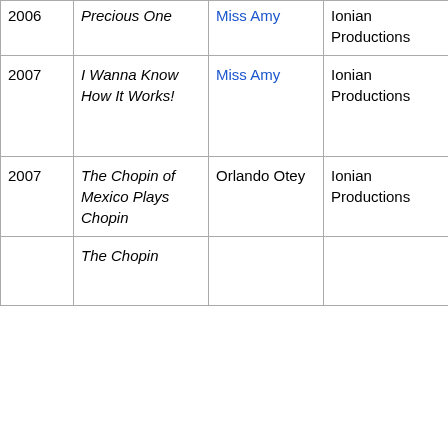| Year | Album | Artist | Label | Role |
| --- | --- | --- | --- | --- |
| 2006 | Precious One | Miss Amy | Ionian Productions | vocals, producer and engineer |
| 2007 | I Wanna Know How It Works! | Miss Amy | Ionian Productions | keyboards, trumpet, backup vocals, producer and engineer |
| 2007 | The Chopin of Mexico Plays Chopin | Orlando Otey | Ionian Productions | producer and engineer |
| 2007 | The Chopin ... |  |  | producer ... |